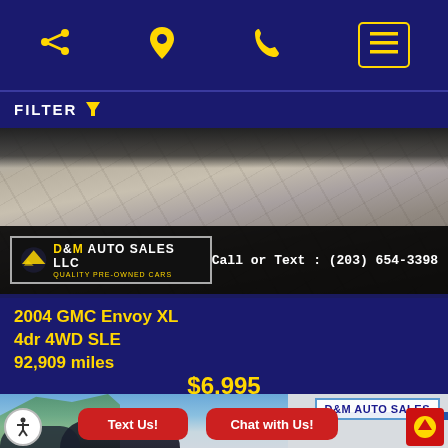Navigation bar with share, location, phone, and menu icons
FILTER
[Figure (photo): Car dealership lot photo with D&M Auto Sales LLC logo banner and Call or Text: (203) 654-3398]
2004 GMC Envoy XL 4dr 4WD SLE 92,909 miles
$6,995
[Figure (photo): D&M Auto Sales dealership exterior with Text Us! and Chat with Us! buttons]
Text Us!
Chat with Us!